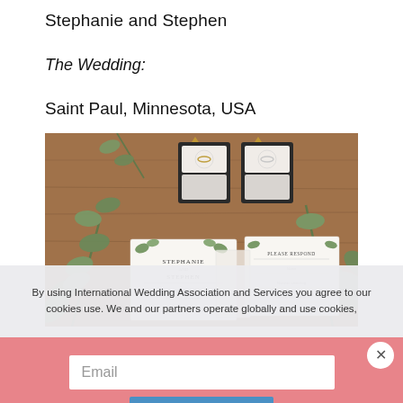Stephanie and Stephen
The Wedding:
Saint Paul, Minnesota, USA
[Figure (photo): Wedding flatlay photo showing wedding invitations with botanical greenery design reading STEPHANIE and STEPHEN, two ring boxes with rings on a wooden surface, and eucalyptus branch decorations]
By using International Wedding Association and Services you agree to our cookies use. We and our partners operate globally and use cookies,
Email
Subscribe